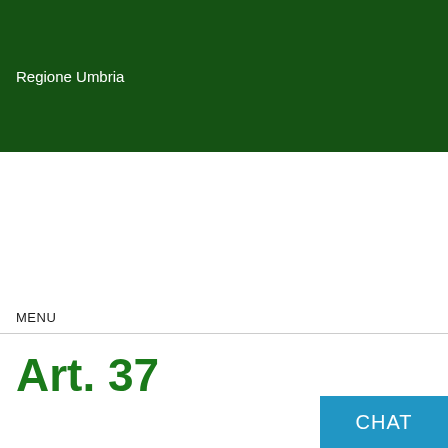Regione Umbria
MENU
Art. 37
CHAT